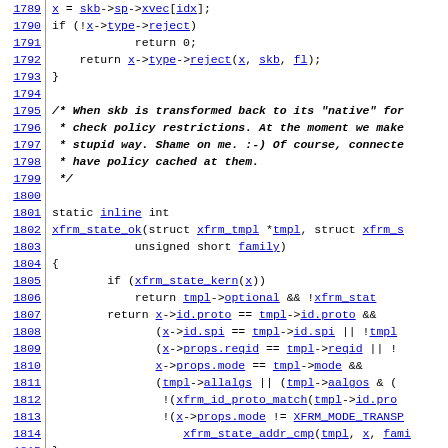[Figure (screenshot): Source code listing showing C code for xfrm state functions, lines 1789-1818, with line numbers on the left and hyperlinked identifiers.]